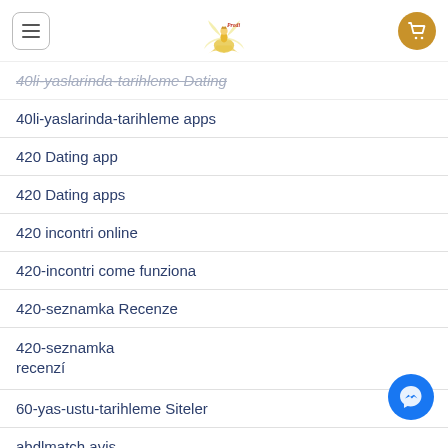Prodi logo with navigation and cart
40li-yaslarinda-tarihleme apps
420 Dating app
420 Dating apps
420 incontri online
420-incontri come funziona
420-seznamka Recenze
420-seznamka recenzí
60-yas-ustu-tarihleme Siteler
abdlmatch avis